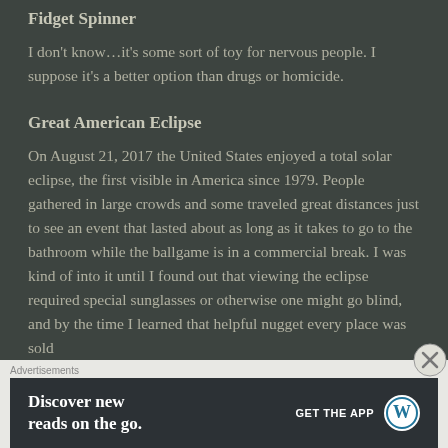Fidget Spinner
I don't know…it's some sort of toy for nervous people. I suppose it's a better option than drugs or homicide.
Great American Eclipse
On August 21, 2017 the United States enjoyed a total solar eclipse, the first visible in America since 1979. People gathered in large crowds and some traveled great distances just to see an event that lasted about as long as it takes to go to the bathroom while the ballgame is in a commercial break. I was kind of into it until I found out that viewing the eclipse required special sunglasses or otherwise one might go blind, and by the time I learned that helpful nugget every place was sold
Advertisements
Discover new reads on the go.  GET THE APP